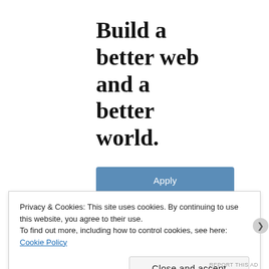Build a better web and a better world.
Apply
Privacy & Cookies: This site uses cookies. By continuing to use this website, you agree to their use.
To find out more, including how to control cookies, see here: Cookie Policy
Close and accept
REPORT THIS AD